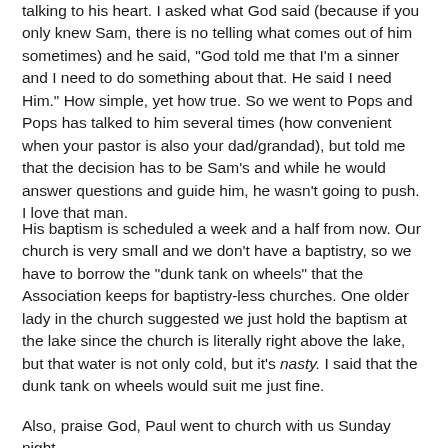talking to his heart. I asked what God said (because if you only knew Sam, there is no telling what comes out of him sometimes) and he said, "God told me that I'm a sinner and I need to do something about that. He said I need Him." How simple, yet how true. So we went to Pops and Pops has talked to him several times (how convenient when your pastor is also your dad/grandad), but told me that the decision has to be Sam's and while he would answer questions and guide him, he wasn't going to push. I love that man.
His baptism is scheduled a week and a half from now. Our church is very small and we don't have a baptistry, so we have to borrow the "dunk tank on wheels" that the Association keeps for baptistry-less churches. One older lady in the church suggested we just hold the baptism at the lake since the church is literally right above the lake, but that water is not only cold, but it's nasty. I said that the dunk tank on wheels would suit me just fine.
Also, praise God, Paul went to church with us Sunday night